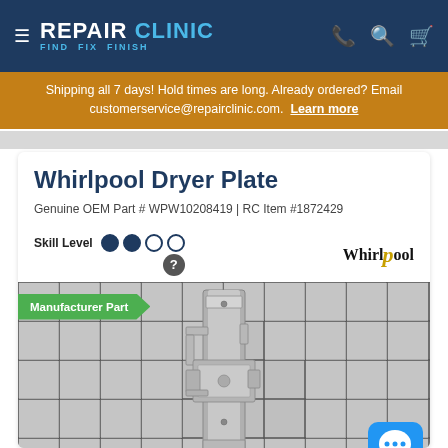REPAIR CLINIC — FIND. FIX. FINISH.
Shipping all 7 days! Hold times are long. Already ordered? Email customerservice@repairclinic.com. Learn more
Whirlpool Dryer Plate
Genuine OEM Part # WPW10208419 | RC Item #1872429
Skill Level ●●○○
Manufacturer Part
[Figure (photo): Metal dryer plate part WPW10208419 photographed on a gray tile grid background]